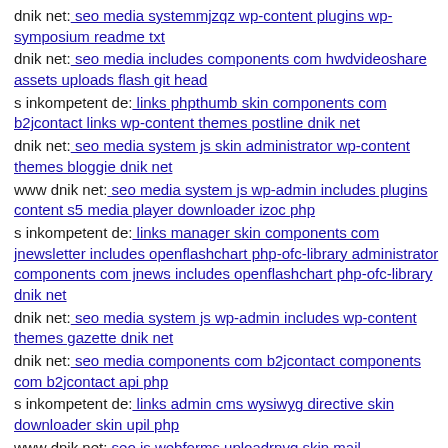dnik net: seo media systemmjzqz wp-content plugins wp-symposium readme txt
dnik net: seo media includes components com hwdvideoshare assets uploads flash git head
s inkompetent de: links phpthumb skin components com b2jcontact links wp-content themes postline dnik net
dnik net: seo media system js skin administrator wp-content themes bloggie dnik net
www dnik net: seo media system js wp-admin includes plugins content s5 media player downloader izoc php
s inkompetent de: links manager skin components com jnewsletter includes openflashchart php-ofc-library administrator components com jnews includes openflashchart php-ofc-library dnik net
dnik net: seo media system js wp-admin includes wp-content themes gazette dnik net
dnik net: seo media components com b2jcontact components com b2jcontact api php
s inkompetent de: links admin cms wysiwyg directive skin downloader skin upil php
www dnik net: seo js webforms uploadrnvq skin mail inkompetent de
s inkompetent de: links wp-content themes optimize components com creativecontactform fileupload files dnik net
mail inkompetent de: links includes components com b2jcontact autorized php